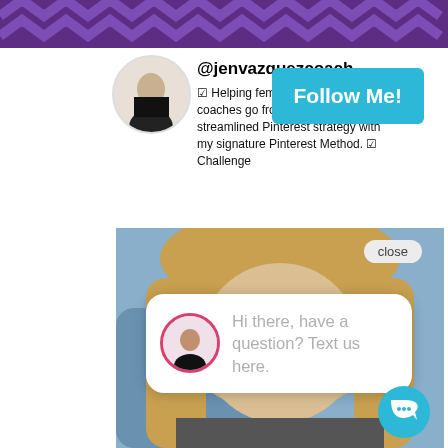[Figure (screenshot): Top purple chevron banner]
[Figure (screenshot): Social media profile card showing @jenvazquezcoach avatar, handle, bio text, and Follow Me button]
@jenvazquezcoach
🎉 Helping female wedding pros + coaches go from overwhelmed to a streamlined Pinterest strategy with my signature Pinterest Method. 🎉 Challenge
[Figure (screenshot): Follow Me! button in teal/blue]
[Figure (photo): Photo of blonde woman in car with chat overlay open]
close
Hi there, have a question? Text us here.